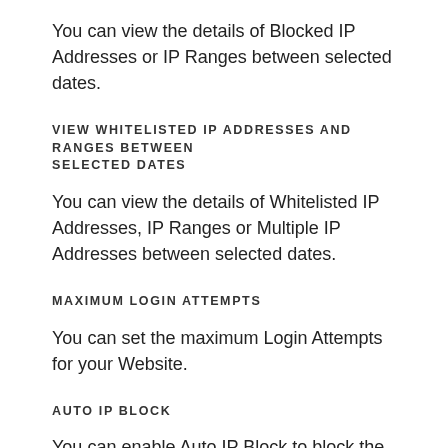You can view the details of Blocked IP Addresses or IP Ranges between selected dates.
VIEW WHITELISTED IP ADDRESSES AND RANGES BETWEEN SELECTED DATES
You can view the details of Whitelisted IP Addresses, IP Ranges or Multiple IP Addresses between selected dates.
MAXIMUM LOGIN ATTEMPTS
You can set the maximum Login Attempts for your Website.
AUTO IP BLOCK
You can enable Auto IP Block to block the IP of the users who exceeds the maximum Login Attempts for the fixed time.